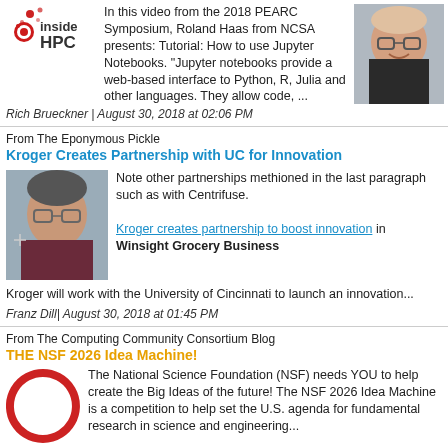[Figure (logo): Inside HPC logo - red circular icon with dots and text 'inside HPC']
In this video from the 2018 PEARC Symposium, Roland Haas from NCSA presents: Tutorial: How to use Jupyter Notebooks. "Jupyter notebooks provide a web-based interface to Python, R, Julia and other languages. They allow code, ...
[Figure (photo): Portrait photo of a man with glasses smiling]
Rich Brueckner | August 30, 2018 at 02:06 PM
From The Eponymous Pickle
Kroger Creates Partnership with UC for Innovation
[Figure (photo): Portrait photo of a man with glasses]
Note other partnerships methioned in the last paragraph such as with Centrifuse.

Kroger creates partnership to boost innovation in Winsight Grocery Business
Kroger will work with the University of Cincinnati to launch an innovation...
Franz Dill | August 30, 2018 at 01:45 PM
From The Computing Community Consortium Blog
THE NSF 2026 Idea Machine!
[Figure (logo): NSF 2026 Idea Machine logo - red circular spiral design]
The National Science Foundation (NSF) needs YOU to help create the Big Ideas of the future! The NSF 2026 Idea Machine is a competition to help set the U.S. agenda for fundamental research in science and engineering...